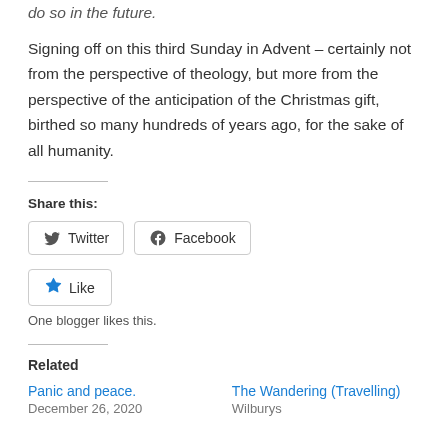do so in the future.
Signing off on this third Sunday in Advent – certainly not from the perspective of theology, but more from the perspective of the anticipation of the Christmas gift, birthed so many hundreds of years ago, for the sake of all humanity.
Share this:
Twitter
Facebook
Like
One blogger likes this.
Related
Panic and peace.
December 26, 2020
The Wandering (Travelling) Wilburys
Wilburys